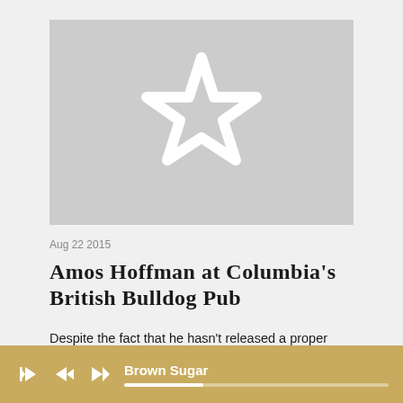[Figure (illustration): Gray placeholder image with a white outlined star in the center]
Aug 22 2015
Amos Hoffman at Columbia's British Bulldog Pub
Despite the fact that he hasn't released a proper album of his own in five years, Amos Hoffman has already teased his upcoming album...
Brown Sugar [music player bar with playback controls and progress bar]